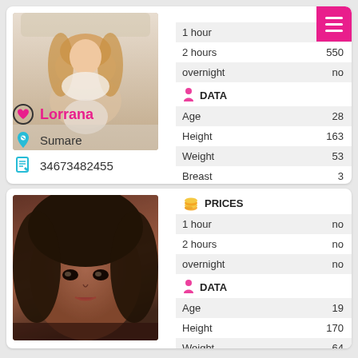[Figure (photo): Photo of Lorrana, a young blonde woman in white lingerie posing on a bed]
|  |  |
| --- | --- |
| 1 hour | 350 |
| 2 hours | 550 |
| overnight | no |
|  |  |
| --- | --- |
| Age | 28 |
| Height | 163 |
| Weight | 53 |
| Breast | 3 |
Lorrana
Sumare
34673482455
[Figure (photo): Close-up photo of a young brunette woman's face in dim lighting]
|  |  |
| --- | --- |
| 1 hour | no |
| 2 hours | no |
| overnight | no |
|  |  |
| --- | --- |
| Age | 19 |
| Height | 170 |
| Weight | 64 |
| Breast | 1 |